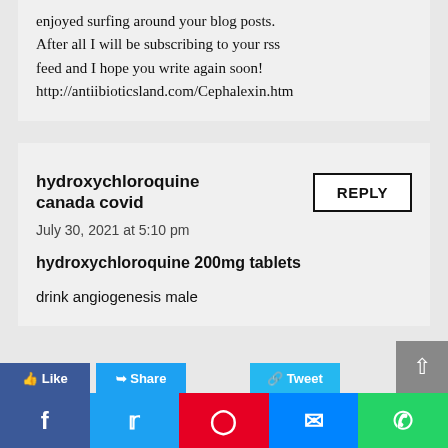enjoyed surfing around your blog posts. After all I will be subscribing to your rss feed and I hope you write again soon! http://antiibioticsland.com/Cephalexin.htm
hydroxychloroquine canada covid
July 30, 2021 at 5:10 pm
hydroxychloroquine 200mg tablets
drink angiogenesis male